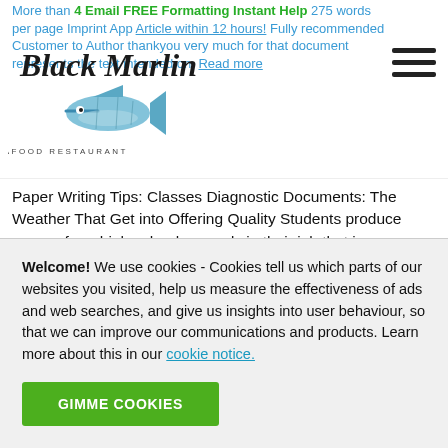More than 4 Email FREE Formatting Instant Help 275 words per page Imprint App Article within 12 hours! Fully recommended Customer to Author thankyou very much for that document represents the text intended on. Read more
[Figure (logo): Black Marlin Seafood Restaurant logo with fish illustration]
Paper Writing Tips: Classes Diagnostic Documents: The Weather That Get into Offering Quality Students produce essays from high-school onwards in their job that is instructional. The concentrate on essay writing exercises is always to produce thinking and to enhance writing skills. Systematic essays are one sort of essays that are such. Diagnostic essays typically are present just at collegelevel, using the focus on criticalthinking following the growth of writing skills. Recommendations around the factors that go into delivering an
Welcome! We use cookies - Cookies tell us which parts of our websites you visited, help us measure the effectiveness of ads and web searches, and give us insights into user behaviour, so that we can improve our communications and products. Learn more about this in our cookie notice.